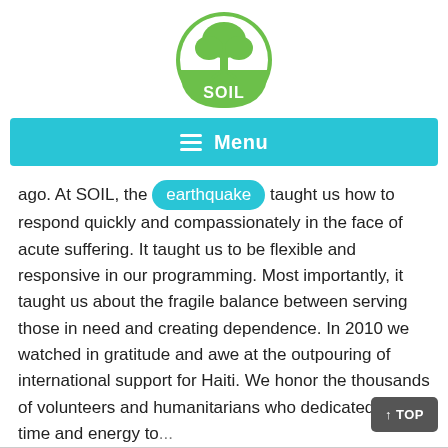[Figure (logo): SOIL organization logo: green circle with white tree and roots, 'SOIL' text in white on lower green portion]
Menu
ago. At SOIL, the earthquake taught us how to respond quickly and compassionately in the face of acute suffering. It taught us to be flexible and responsive in our programming. Most importantly, it taught us about the fragile balance between serving those in need and creating dependence. In 2010 we watched in gratitude and awe at the outpouring of international support for Haiti. We honor the thousands of volunteers and humanitarians who dedicated their time and energy to...